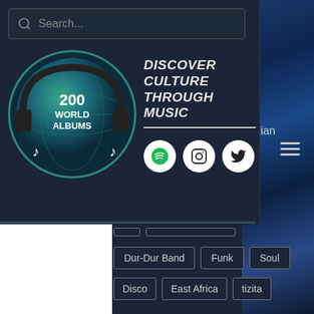Search...
[Figure (logo): 200 World Albums logo — circular logo with globe and headphones, teal/dark color scheme]
DISCOVER CULTURE THROUGH MUSIC
ian
[Figure (infographic): Social media icons: Spotify, Instagram, Twitter — white circles with dark icons]
Dur-Dur Band
Funk
Soul
Disco
East Africa
tizita
Reviews
[Figure (infographic): Share icons: Facebook, Twitter, LinkedIn, Link/chain icon]
[Figure (infographic): Comment/chat bubble icon]
Recent Posts
See All